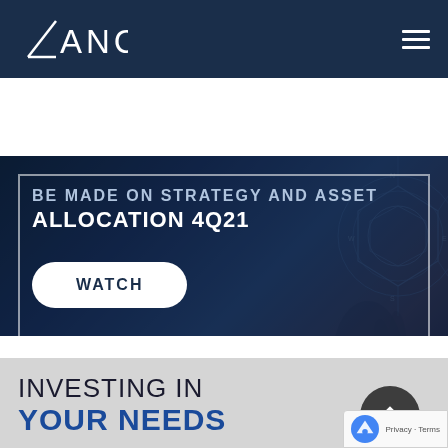ANCHOR
[Figure (screenshot): Hero banner with dark blue background showing technology/compass imagery. Contains partial text 'BE MADE ON STRATEGY AND ASSET ALLOCATION 4Q21' and a WATCH button.]
INVESTING IN YOUR NEEDS
Submit your details and we'll give you a call back to and advise you on your investment.